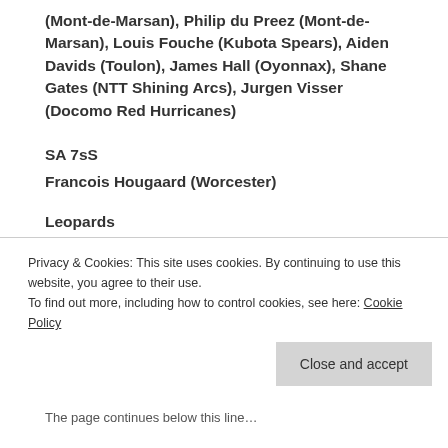(Mont-de-Marsan), Philip du Preez (Mont-de-Marsan), Louis Fouche (Kubota Spears), Aiden Davids (Toulon), James Hall (Oyonnax), Shane Gates (NTT Shining Arcs), Jurgen Visser (Docomo Red Hurricanes)
SA 7sS
Francois Hougaard (Worcester)
Leopards
Privacy & Cookies: This site uses cookies. By continuing to use this website, you agree to their use.
To find out more, including how to control cookies, see here: Cookie Policy
Close and accept
The page continues below this line